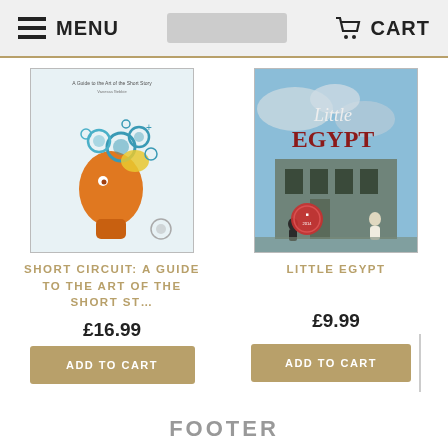MENU | CART
[Figure (illustration): Book cover for Short Circuit: A Guide to the Art of the Short Story - shows an orange face with gears/cogs coming out of the head]
SHORT CIRCUIT: A GUIDE TO THE ART OF THE SHORT ST…
£16.99
ADD TO CART
[Figure (illustration): Book cover for Little Egypt - shows a building with a person in foreground, with an award badge]
LITTLE EGYPT
£9.99
ADD TO CART
FOOTER